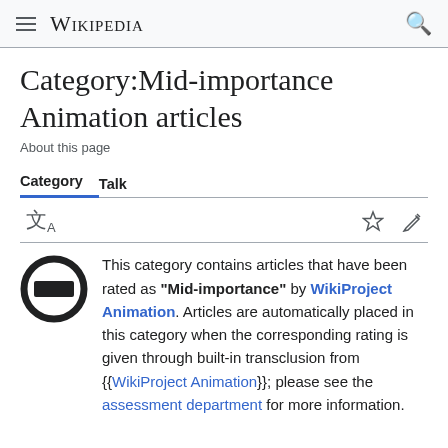Wikipedia
Category:Mid-importance Animation articles
About this page
Category  Talk
This category contains articles that have been rated as "Mid-importance" by WikiProject Animation. Articles are automatically placed in this category when the corresponding rating is given through built-in transclusion from {{WikiProject Animation}}; please see the assessment department for more information.